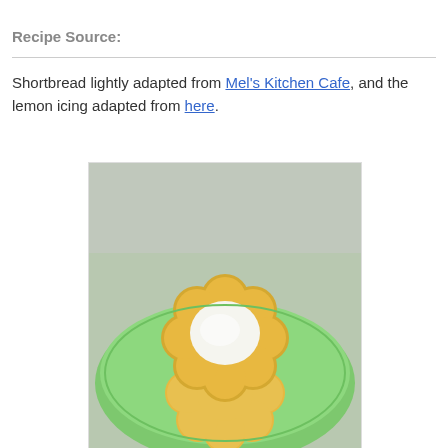Recipe Source:
Shortbread lightly adapted from Mel's Kitchen Cafe, and the lemon icing adapted from here.
[Figure (photo): Photo of flower-shaped lemon shortbread cookies with white icing stacked on a green plate]